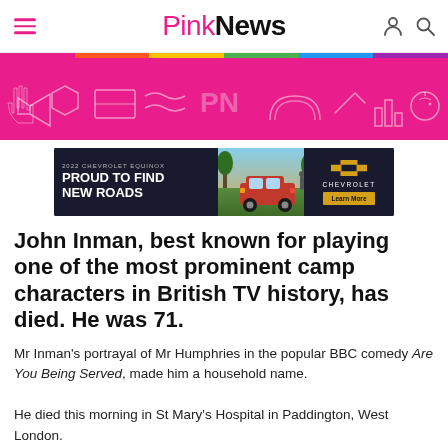PinkNews
[Figure (illustration): Pink banner with white illustrated icons including diamond, megaphone, flag, rainbow, piggy bank, and other LGBT pride related doodles on a pink background.]
[Figure (screenshot): Chevrolet Equinox 2022 advertisement. Text: '2022 CHEVROLET EQUINOX PROUD TO FIND NEW ROADS'. CHEVROLET logo and 'Learn More' button visible. Red SUV shown.]
John Inman, best known for playing one of the most prominent camp characters in British TV history, has died. He was 71.
Mr Inman's portrayal of Mr Humphries in the popular BBC comedy Are You Being Served, made him a household name.
He died this morning in St Mary's Hospital in Paddington, West London.